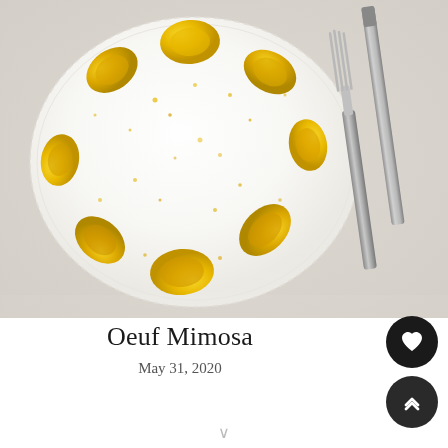[Figure (photo): Top-down photo of Oeuf Mimosa (deviled eggs) arranged in a circle on a white doily plate with scalloped edges, dusted with yellow egg yolk crumbles. A silver fork and knife are placed to the right of the plate on a light grey cloth surface.]
Oeuf Mimosa
May 31, 2020